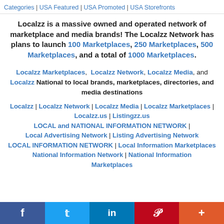Categories | USA Featured | USA Promoted | USA Storefronts
Localzz is a massive owned and operated network of marketplace and media brands! The Localzz Network has plans to launch 100 Marketplaces, 250 Marketplaces, 500 Marketplaces, and a total of 1000 Marketplaces.
Localzz Marketplaces, Localzz Network, Localzz Media, and Localzz National to local brands, marketplaces, directories, and media destinations
Localzz | Localzz Network | Localzz Media | Localzz Marketplaces | Localzz.us | Listingzz.us LOCAL and NATIONAL INFORMATION NETWORK | Local Advertising Network | Listing Advertising Network LOCAL INFORMATION NETWORK | Local Information Marketplaces National Information Network | National Information Marketplaces